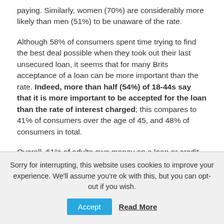paying. Similarly, women (70%) are considerably more likely than men (51%) to be unaware of the rate.
Although 58% of consumers spent time trying to find the best deal possible when they took out their last unsecured loan, it seems that for many Brits acceptance of a loan can be more important than the rate. Indeed, more than half (54%) of 18-44s say that it is more important to be accepted for the loan than the rate of interest charged; this compares to 41% of consumers over the age of 45, and 48% of consumers in total.
Overall, 61% of adults owe money on a loan or credit
Sorry for interrupting, this website uses cookies to improve your experience. We'll assume you're ok with this, but you can opt-out if you wish.